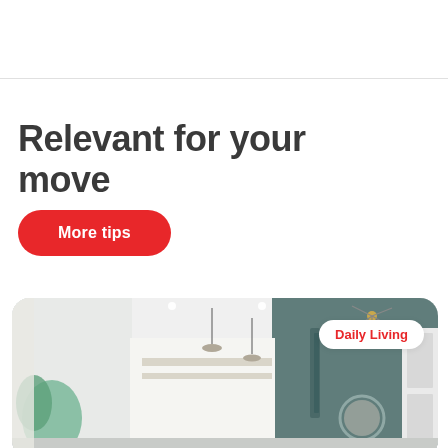Relevant for your move
More tips
[Figure (photo): Interior room photo showing a modern open-plan living space with teal/slate green accent wall, pendant lights, shelving, plants, and decorative mirror. A 'Daily Living' badge is overlaid in the top right corner.]